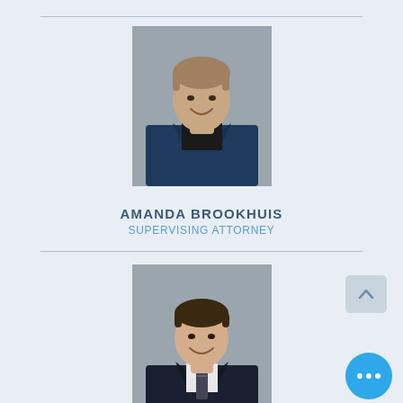[Figure (photo): Professional headshot of Amanda Brookhuis, a woman wearing a navy blue blazer, smiling, short hair, gray background]
AMANDA BROOKHUIS
SUPERVISING ATTORNEY
[Figure (photo): Professional headshot of Alexander Kelly, a young man wearing a dark suit with a patterned tie, smiling, gray background]
ALEXANDER KELLY